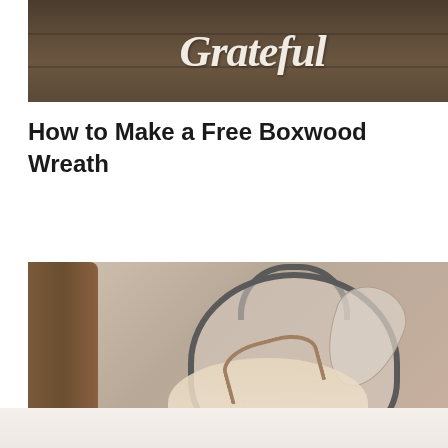[Figure (photo): Rustic wooden sign with cursive white script reading 'Grateful' on dark stained horizontal wood planks]
How to Make a Free Boxwood Wreath
[Figure (photo): Farmhouse style vignette with a lantern, wooden candlestick, fabric pumpkin with twine bow, and leaves arranged decoratively]
[Figure (photo): Partial bottom image showing white pleated or draped fabric]